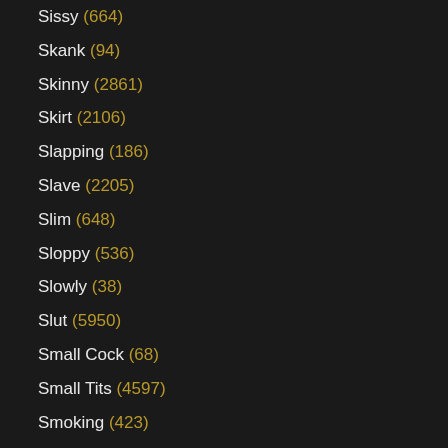Sissy (664)
Skank (94)
Skinny (2861)
Skirt (2106)
Slapping (186)
Slave (2205)
Slim (648)
Sloppy (536)
Slowly (38)
Slut (5950)
Small Cock (68)
Small Tits (4597)
Smoking (423)
Smooth (62)
Smothering (132)
Snatch (103)